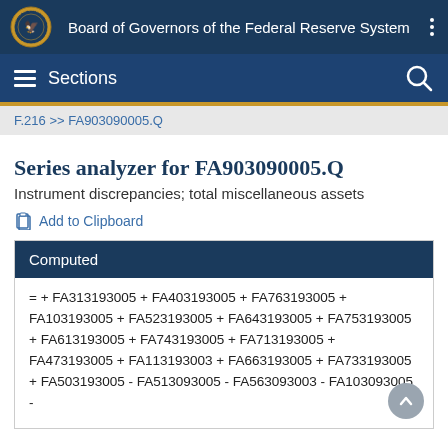Board of Governors of the Federal Reserve System
Sections
F.216 >> FA903090005.Q
Series analyzer for FA903090005.Q
Instrument discrepancies; total miscellaneous assets
Add to Clipboard
Computed